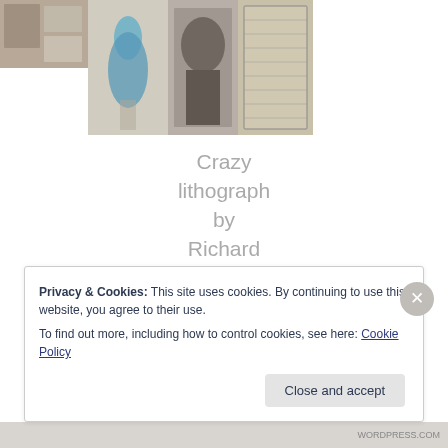[Figure (photo): A collage of gallery/artwork photos showing framed pictures on walls including a blue dress/figure artwork, a portrait photograph, and a dense text/image collage piece]
Crazy lithograph by Richard Hamilton focusing on the drug bust of the
Privacy & Cookies: This site uses cookies. By continuing to use this website, you agree to their use.
To find out more, including how to control cookies, see here: Cookie Policy
Close and accept